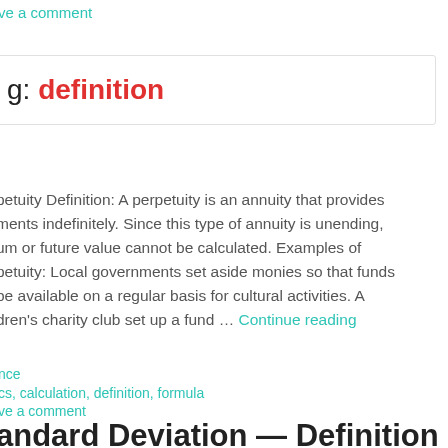ve a comment
g: definition
petuity Definition: A perpetuity is an annuity that provides ments indefinitely. Since this type of annuity is unending, um or future value cannot be calculated. Examples of petuity: Local governments set aside monies so that funds be available on a regular basis for cultural activities. A dren's charity club set up a fund ... Continue reading
nce
cs, calculation, definition, formula
ve a comment
andard Deviation — Definition & alculation